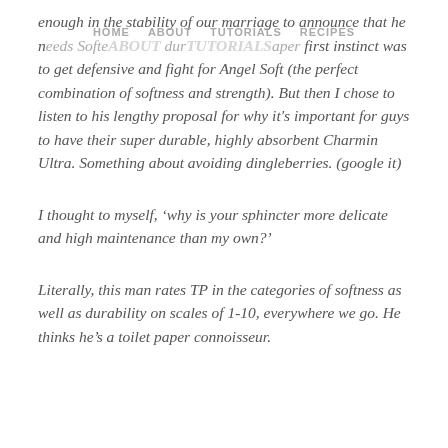HOME   ABOUT   TUTORIALS   RECIPES
enough in the stability of our marriage to announce that he needs Softer About during aper first instinct was to get defensive and fight for Angel Soft (the perfect combination of softness and strength). But then I chose to listen to his lengthy proposal for why it's important for guys to have their super durable, highly absorbent Charmin Ultra. Something about avoiding dingleberries. (google it)
I thought to myself, ‘why is your sphincter more delicate and high maintenance than my own?’
Literally, this man rates TP in the categories of softness as well as durability on scales of 1-10, everywhere we go. He thinks he’s a toilet paper connoisseur.